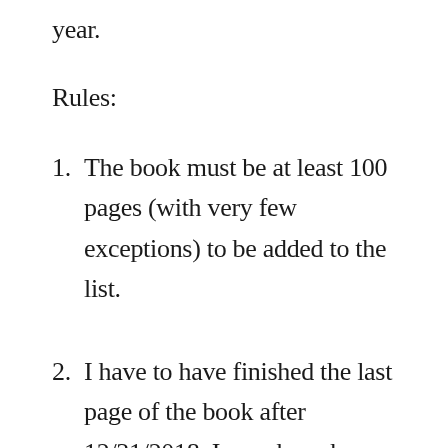year.
Rules:
The book must be at least 100 pages (with very few exceptions) to be added to the list.
I have to have finished the last page of the book after 12/31/2018. I may have begun